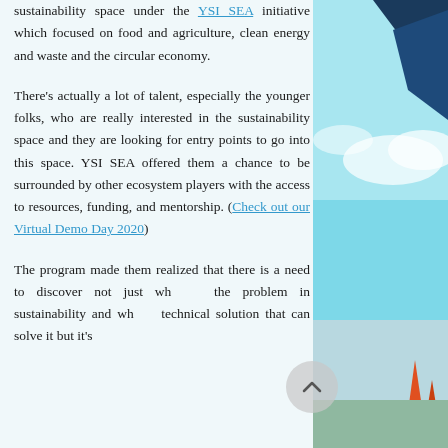sustainability space under the YSI SEA initiative which focused on food and agriculture, clean energy and waste and the circular economy.
There's actually a lot of talent, especially the younger folks, who are really interested in the sustainability space and they are looking for entry points to go into this space. YSI SEA offered them a chance to be surrounded by other ecosystem players with the access to resources, funding, and mentorship. (Check out our Virtual Demo Day 2020)
The program made them realized that there is a need to discover not just what is the problem in sustainability and what a technical solution that can solve it but it's
[Figure (illustration): Decorative illustration showing a stylized outdoor scene with blue sky, geometric shapes including dark blue angular shapes and clouds, with orange/red cone shapes at bottom right. Bright turquoise/light blue tones dominate.]